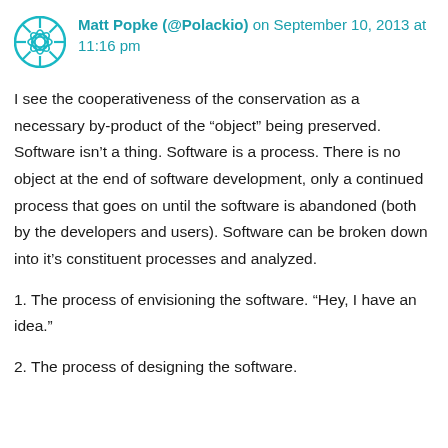Matt Popke (@Polackio) on September 10, 2013 at 11:16 pm
I see the cooperativeness of the conservation as a necessary by-product of the “object” being preserved. Software isn’t a thing. Software is a process. There is no object at the end of software development, only a continued process that goes on until the software is abandoned (both by the developers and users). Software can be broken down into it’s constituent processes and analyzed.
1. The process of envisioning the software. “Hey, I have an idea.”
2. The process of designing the software.